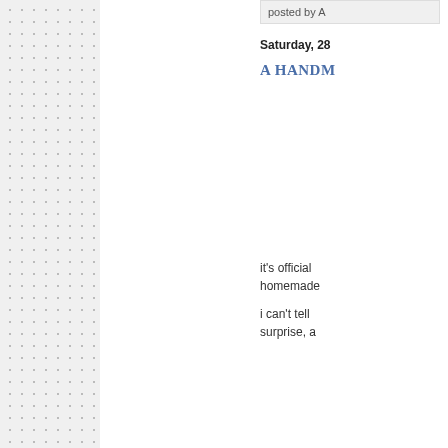posted by A
Saturday, 28
A HANDM
it's official homemade
i can't tell surprise, a